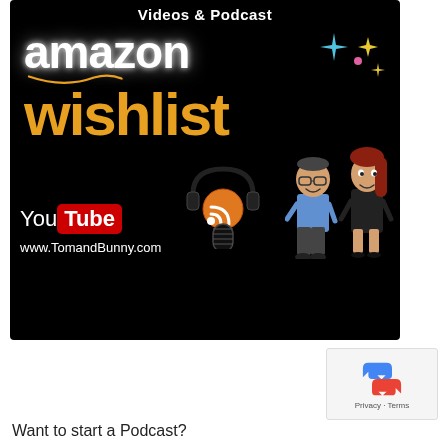[Figure (illustration): Amazon Wishlist Videos & Podcast promotional image on black background with Amazon logo, 'wishlist' in gold text, YouTube logo, microphone/podcast icon, cartoon characters of a man and woman, and website www.TomandBunny.com]
[Figure (logo): reCAPTCHA logo box with blue/red recycling-style arrows forming a C shape, and 'Privacy - Terms' text below]
Want to start a Podcast?